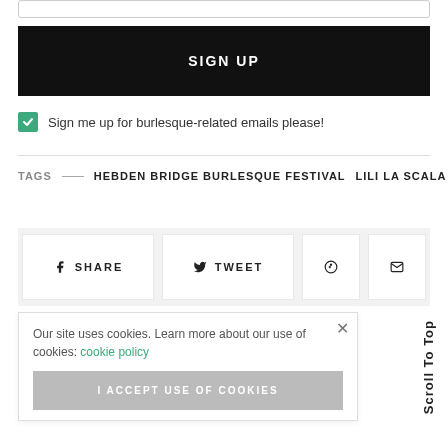SIGN UP
Sign me up for burlesque-related emails please!
TAGS — HEBDEN BRIDGE BURLESQUE FESTIVAL  LILI LA SCALA
SHARE  TWEET
Our site uses cookies. Learn more about our use of cookies: cookie policy
I ACCEPT USE OF COOKIES
Scroll To Top